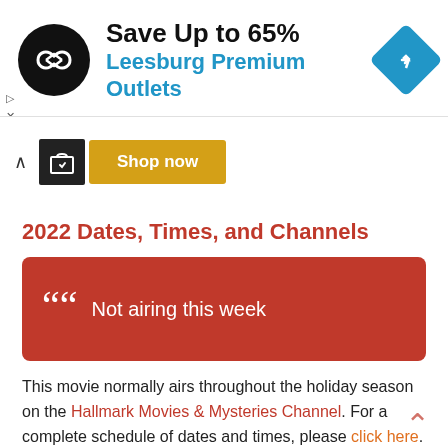[Figure (infographic): Advertisement banner: circular black logo with arrow symbol, 'Save Up to 65%' headline, 'Leesburg Premium Outlets' in blue, blue diamond navigation icon]
[Figure (infographic): Shop now button area with caret-up control and golden 'Shop now' button]
2022 Dates, Times, and Channels
Not airing this week
This movie normally airs throughout the holiday season on the Hallmark Movies & Mysteries Channel. For a complete schedule of dates and times, please click here.
Year Released